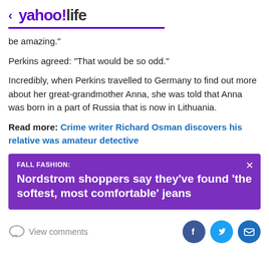< yahoo!life
be amazing."
Perkins agreed: "That would be so odd."
Incredibly, when Perkins travelled to Germany to find out more about her great-grandmother Anna, she was told that Anna was born in a part of Russia that is now in Lithuania.
Read more: Crime writer Richard Osman discovers his relative was amateur detective
[Figure (infographic): Purple advertisement banner: FALL FASHION: Nordstrom shoppers say they've found 'the softest, most comfortable' jeans]
View comments